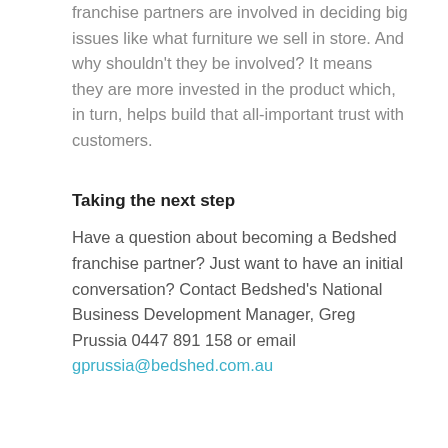franchise partners are involved in deciding big issues like what furniture we sell in store. And why shouldn't they be involved? It means they are more invested in the product which, in turn, helps build that all-important trust with customers.
Taking the next step
Have a question about becoming a Bedshed franchise partner? Just want to have an initial conversation? Contact Bedshed's National Business Development Manager, Greg Prussia 0447 891 158 or email gprussia@bedshed.com.au